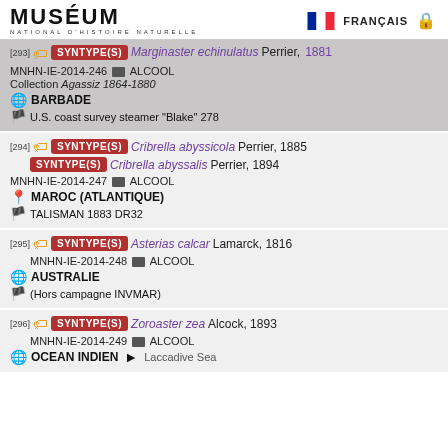MUSÉUM NATIONAL D'HISTOIRE NATURELLE — FRANÇAIS
[293] SYNTYPE(S) Marginaster echinulatus Perrier, 1881 — MNHN-IE-2014-246 ALCOOL — Collection Agassiz 1864-1880 — BARBADE — U.S. coast survey steamer "Blake" 278
[294] SYNTYPE(S) Cribrella abyssicola Perrier, 1885 — SYNTYPE(S) Cribrella abyssalis Perrier, 1894 — MNHN-IE-2014-247 ALCOOL — MAROC (ATLANTIQUE) — TALISMAN 1883 DR32
[295] SYNTYPE(S) Asterias calcar Lamarck, 1816 — MNHN-IE-2014-248 ALCOOL — AUSTRALIE — (Hors campagne INVMAR)
[296] SYNTYPE(S) Zoroaster zea Alcock, 1893 — MNHN-IE-2014-249 ALCOOL — OCEAN INDIEN > Laccadive Sea